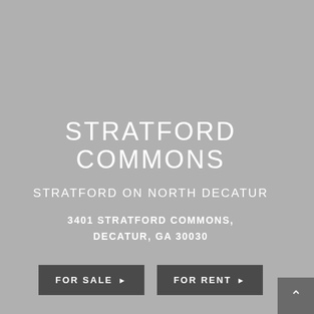STRATFORD COMMONS
STRATFORD ON NORTH DECATUR
3401 STRATFORD COMMONS, DECATUR, GA 30030
FOR SALE ▶  FOR RENT ▶
[Figure (other): Scroll-up navigation button in bottom right corner]